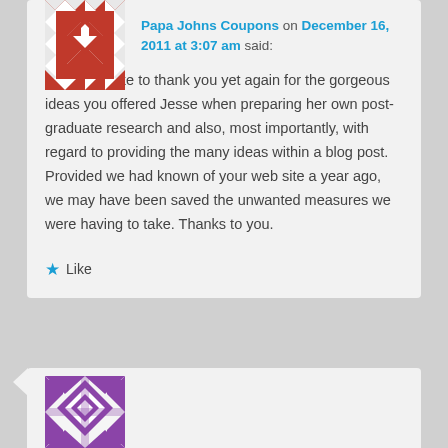[Figure (illustration): Red and white geometric quilt-pattern avatar for Papa Johns Coupons commenter]
Papa Johns Coupons on December 16, 2011 at 3:07 am said:
We would like to thank you yet again for the gorgeous ideas you offered Jesse when preparing her own post-graduate research and also, most importantly, with regard to providing the many ideas within a blog post. Provided we had known of your web site a year ago, we may have been saved the unwanted measures we were having to take. Thanks to you.
★ Like
[Figure (illustration): Purple and white geometric quilt-pattern avatar for second commenter]